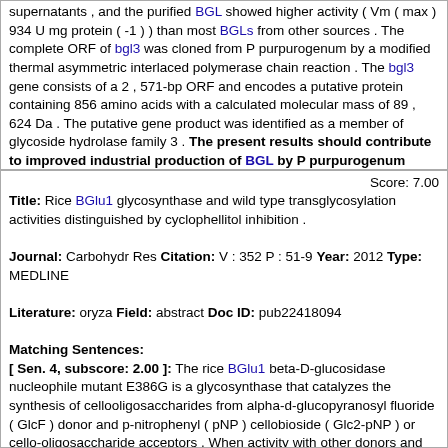supernatants , and the purified BGL showed higher activity ( Vm ( max ) 934 U mg protein ( -1 ) ) than most BGLs from other sources . The complete ORF of bgl3 was cloned from P purpurogenum by a modified thermal asymmetric interlaced polymerase chain reaction . The bgl3 gene consists of a 2 , 571-bp ORF and encodes a putative protein containing 856 amino acids with a calculated molecular mass of 89 , 624 Da . The putative gene product was identified as a member of glycoside hydrolase family 3 . The present results should contribute to improved industrial production of BGL by P purpurogenum KJS506 .
Score: 7.00
Title: Rice BGlu1 glycosynthase and wild type transglycosylation activities distinguished by cyclophellitol inhibition .
Journal: Carbohydr Res Citation: V : 352 P : 51-9 Year: 2012 Type: MEDLINE
Literature: oryza Field: abstract Doc ID: pub22418094
Matching Sentences:
[ Sen. 4, subscore: 2.00 ]: The rice BGlu1 beta-D-glucosidase nucleophile mutant E386G is a glycosynthase that catalyzes the synthesis of cellooligosaccharides from alpha-d-glucopyranosyl fluoride ( GlcF ) donor and p-nitrophenyl ( pNP ) cellobioside ( Glc2-pNP ) or cello-oligosaccharide acceptors . When activity with other donors and acceptors was tested , the initial enzyme preparation cleaved pNP-beta-D-glucopyranoside ( Glc-pNP ) and pNP-beta-D-fucopyranoside ( Fuc-pNP ) to pNP and glucose and fucose , suggesting contamination with wild type BGlu1 beta-glucosidase . The products from reaction of GlcF and Fuc-pNP included Fuc-beta- ( 1-->3 ) -Fuc-pNP , Glc-beta- ( 1-->3 ) -Fuc-pNP , and Fuc-beta- ( 1-->4 ) -Glc-beta- ( 1-->3 ) -Fuc-pNP , suggesting the presence of both wild type BGlu1 and its glycosynthase